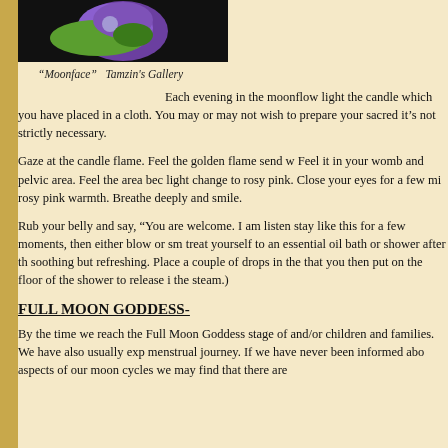[Figure (photo): Image of a moonface artwork at top of page, partially cropped]
"Moonface"  Tamzin's Gallery
Each evening in the moonflow light the candle which you have placed in a cloth. You may or may not wish to prepare your sacred it's not strictly necessary.
Gaze at the candle flame. Feel the golden flame send w Feel it in your womb and pelvic area. Feel the area bec light change to rosy pink. Close your eyes for a few mi rosy pink warmth. Breathe deeply and smile.
Rub your belly and say, “You are welcome. I am listen stay like this for a few moments, then either blow or sm treat yourself to an essential oil bath or shower after th soothing but refreshing. Place a couple of drops in the that you then put on the floor of the shower to release i the steam.)
FULL MOON GODDESS-
By the time we reach the Full Moon Goddess stage of and/or children and families. We have also usually exp menstrual journey. If we have never been informed abo aspects of our moon cycles we may find that there are